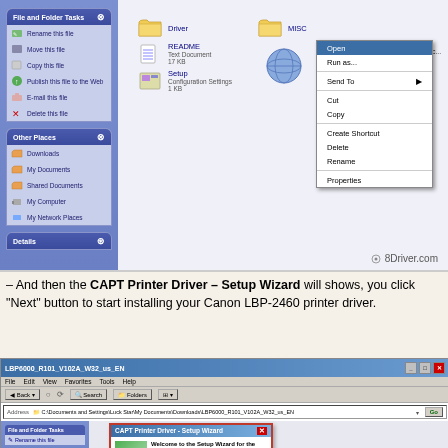[Figure (screenshot): Windows XP Explorer window showing Driver and MISC folders, README and Setup files, with a right-click context menu open showing options: Open (highlighted), Run as..., Send To, Cut, Copy, Create Shortcut, Delete, Rename, Properties. Left sidebar shows File and Folder Tasks and Other Places panels. Watermark: 8Driver.com]
– And then the CAPT Printer Driver – Setup Wizard will shows, you click "Next" button to start installing your Canon LBP-2460 printer driver.
[Figure (screenshot): Windows XP Explorer window titled LBP6000_R101_V102A_W32_us_EN with address bar showing C:\Documents and Settings\Luck Star\My Documents\Downloads\LBP6000_R101_V102A_W32_us_EN. Left sidebar shows File and Folder Tasks with Rename this file. A CAPT Printer Driver - Setup Wizard dialog is open showing Welcome to the Setup Wizard for the CAPT Printer Driver.]